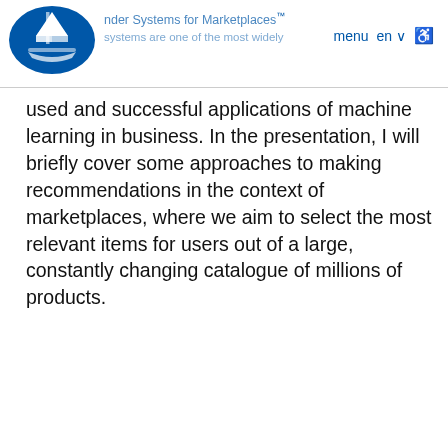Recommender Systems for Marketplaces — menu en
used and successful applications of machine learning in business. In the presentation, I will briefly cover some approaches to making recommendations in the context of marketplaces, where we aim to select the most relevant items for users out of a large, constantly changing catalogue of millions of products.
Where?
We use cookies on this site to enhance your user experience
By clicking the Accept button, you agree to us doing so.